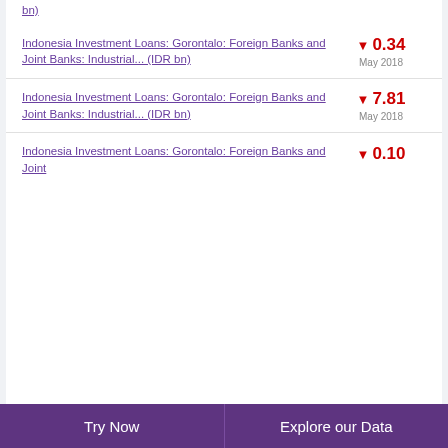bn)
Indonesia Investment Loans: Gorontalo: Foreign Banks and Joint Banks: Industrial... (IDR bn)
Indonesia Investment Loans: Gorontalo: Foreign Banks and Joint Banks: Industrial... (IDR bn)
Indonesia Investment Loans: Gorontalo: Foreign Banks and Joint Banks:
Try Now | Explore our Data